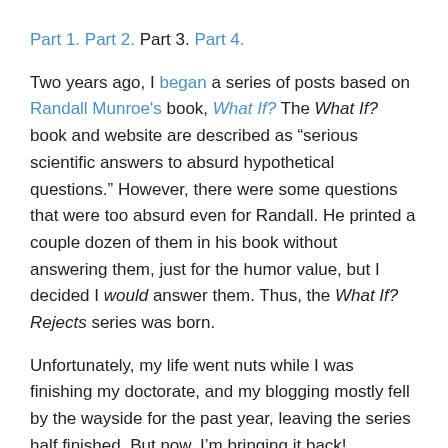Part 1. Part 2. Part 3. Part 4.
Two years ago, I began a series of posts based on Randall Munroe's book, What If? The What If? book and website are described as “serious scientific answers to absurd hypothetical questions.” However, there were some questions that were too absurd even for Randall. He printed a couple dozen of them in his book without answering them, just for the humor value, but I decided I would answer them. Thus, the What If? Rejects series was born.
Unfortunately, my life went nuts while I was finishing my doctorate, and my blogging mostly fell by the wayside for the past year, leaving the series half finished. But now, I’m bringing it back!